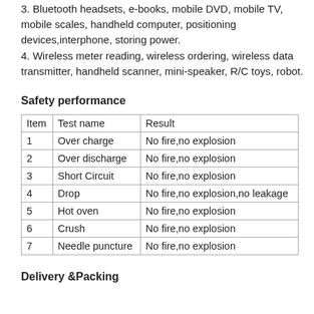3. Bluetooth headsets, e-books, mobile DVD, mobile TV, mobile scales, handheld computer, positioning devices,interphone, storing power.
4. Wireless meter reading, wireless ordering, wireless data transmitter, handheld scanner, mini-speaker, R/C toys, robot.
Safety performance
| Item | Test name | Result |
| --- | --- | --- |
| 1 | Over charge | No fire,no explosion |
| 2 | Over discharge | No fire,no explosion |
| 3 | Short Circuit | No fire,no explosion |
| 4 | Drop | No fire,no explosion,no leakage |
| 5 | Hot oven | No fire,no explosion |
| 6 | Crush | No fire,no explosion |
| 7 | Needle puncture | No fire,no explosion |
Delivery &Packing